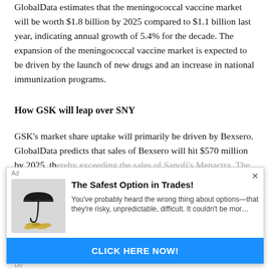GlobalData estimates that the meningococcal vaccine market will be worth $1.8 billion by 2025 compared to $1.1 billion last year, indicating annual growth of 5.4% for the decade. The expansion of the meningococcal vaccine market is expected to be driven by the launch of new drugs and an increase in national immunization programs.
How GSK will leap over SNY
GSK's market share uptake will primarily be driven by Bexsero. GlobalData predicts that sales of Bexsero will hit $570 million by 2025, thereby exceeding the sales of Sanofi's Menactra. The launch of GSK's MenABCWY is also expected to add to the company's market share gain.
GSK's MenABCWY, which is currently in phase 2, is expected to launch into U.S. and Europe by 2025. Meanwhile, GSK can be
[Figure (other): Advertisement overlay showing 'The Safest Option in Trades!' with an image of a hand holding an umbrella over coins, descriptive text about options trading, and a blue 'CLICK HERE NOW!' button.]